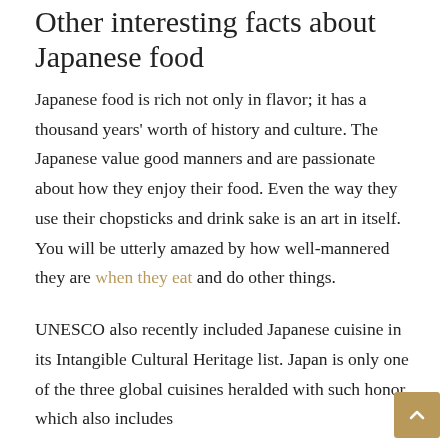Other interesting facts about Japanese food
Japanese food is rich not only in flavor; it has a thousand years' worth of history and culture. The Japanese value good manners and are passionate about how they enjoy their food. Even the way they use their chopsticks and drink sake is an art in itself. You will be utterly amazed by how well-mannered they are when they eat and do other things.
UNESCO also recently included Japanese cuisine in its Intangible Cultural Heritage list. Japan is only one of the three global cuisines heralded with such honor, which also includes